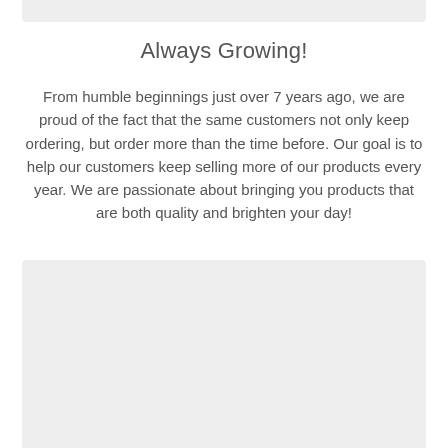Always Growing!
From humble beginnings just over 7 years ago, we are proud of the fact that the same customers not only keep ordering, but order more than the time before. Our goal is to help our customers keep selling more of our products every year. We are passionate about bringing you products that are both quality and brighten your day!
[Figure (other): Light gray rectangular placeholder image block at the bottom of the page]